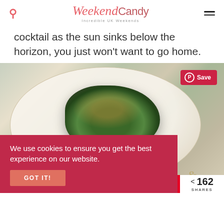WeekendCandy — Incredible UK Weekends
cocktail as the sun sinks below the horizon, you just won't want to go home.
[Figure (photo): A gourmet dish of greens and fish on a white plate with gold rim, seen from above]
We use cookies to ensure you get the best experience on our website.
GOT IT!
Share bar with social buttons and 162 SHARES